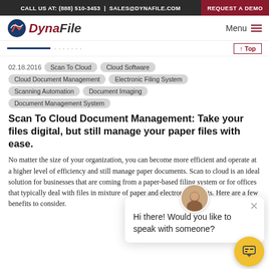CALL US AT: (888) 510-3453 | SALES@DYNAFILE.COM | REQUEST A DEMO
DynaFile — Menu
02.18.2016
Scan To Cloud
Cloud Software
Cloud Document Management
Electronic Filing System
Scanning Automation
Document Imaging
Document Management System
Scan To Cloud Document Management: Take your files digital, but still manage your paper files with ease.
No matter the size of your organization, you can become more efficient and operate at a higher level of efficiency and still manage paper documents. Scan to cloud is an ideal solution for businesses that are coming from a paper-based filing system or for offices that typically deal with files in mixture of paper and electronic formats. Here are a few benefits to consider.